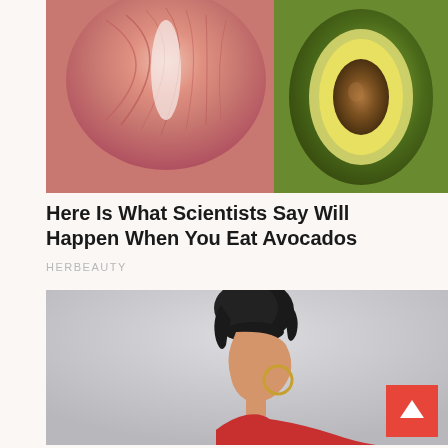[Figure (photo): Split image showing anatomical illustration of human chest muscles on the left and a halved avocado on the right]
Here Is What Scientists Say Will Happen When You Eat Avocados
HERBEAUTY
[Figure (photo): Photo of a young woman with short dark curly hair and bangs, wearing a red top, viewed from the side in profile, wearing large hoop earrings, with a back to top scroll button in the lower right corner]
Studies Show The #1 Reason You Haven't Found